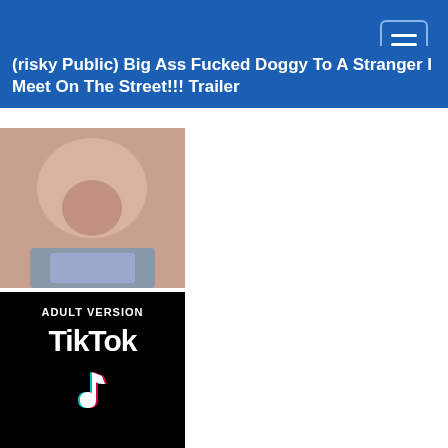(risky Public) Big Ass Fucked Doggy To A Stranger I Meet On The Street!!! Trailer
[Figure (screenshot): Thumbnail image split into two parts: top shows adult content photo, bottom shows a black background with 'ADULT VERSION' text, TikTok logo and musical note icon]